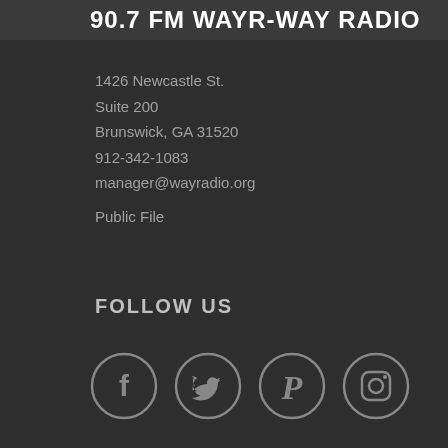90.7 FM WAYR-WAY RADIO
1426 Newcastle St.
Suite 200
Brunswick, GA 31520
912-342-1083
manager@wayradio.org
Public File
FOLLOW US
[Figure (infographic): Four social media icons in circles: Facebook, Twitter, Pinterest, Instagram]